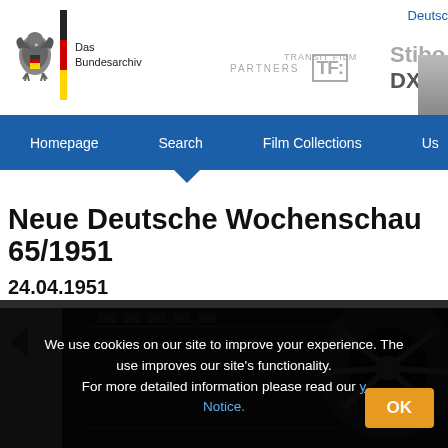Das Bundesarchiv | Partners | TRANSIT FILM | Stibo DX | Deutsch
Homepage | Search | Film Collections | Us
Neue Deutsche Wochenschau 65/1951
24.04.1951
[Figure (screenshot): Film reel image in dark background with navigation arrow]
We use cookies on our site to improve your experience. The use improves our site's functionality. For more detailed information please read our Privacy Notice.